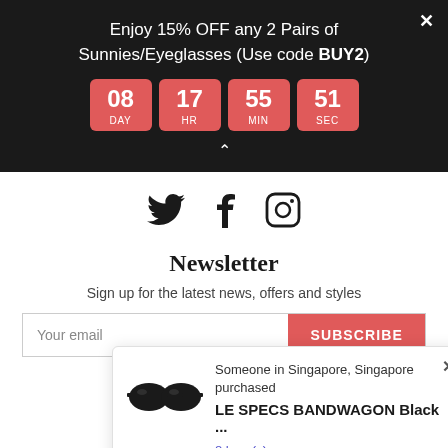Enjoy 15% OFF any 2 Pairs of Sunnies/Eyeglasses (Use code BUY2)
[Figure (infographic): Countdown timer showing 08 DAY, 17 HR, 55 MIN, 51 SEC in red boxes]
[Figure (infographic): Social media icons: Twitter bird, Facebook F, Instagram camera]
Newsletter
Sign up for the latest news, offers and styles
Your email
SUBSCRIBE
Someone in Singapore, Singapore purchased
LE SPECS BANDWAGON Black ...
8 hour(s) ago
Verified by CareCart